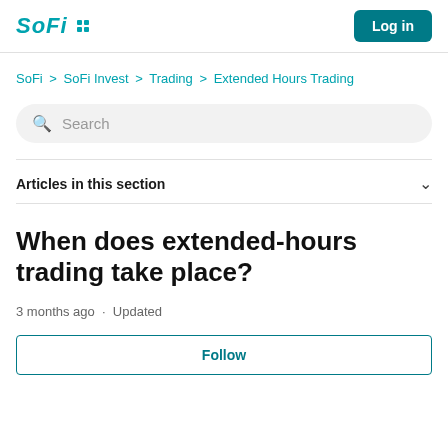SoFi | Log in
SoFi > SoFi Invest > Trading > Extended Hours Trading
Search
Articles in this section
When does extended-hours trading take place?
3 months ago · Updated
Follow